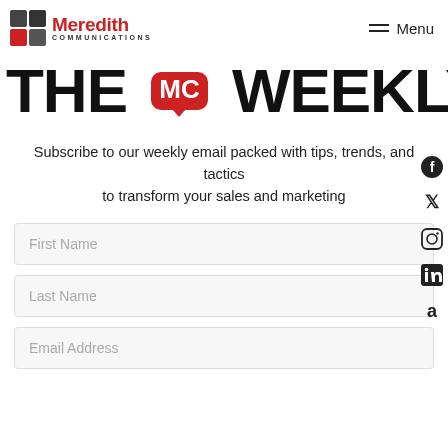[Figure (logo): Meredith Communications logo with grid icon and red/dark squares]
THE MC WEEKLY
Subscribe to our weekly email packed with tips, trends, and tactics to transform your sales and marketing
[Figure (illustration): Form fields: First Name, Last Name, Email Address input fields]
[Figure (infographic): Social media icons: Facebook, Twitter, Instagram, LinkedIn, Amazon]